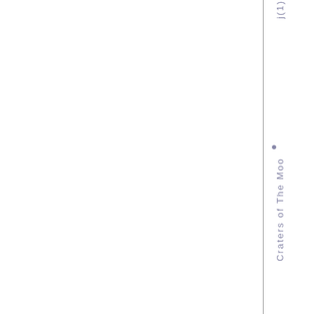j(1) Craters of The Moo
j(1)
Craters of The Moo